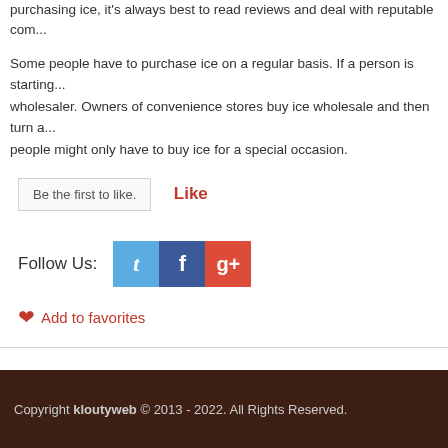purchasing ice, it's always best to read reviews and deal with reputable com...
Some people have to purchase ice on a regular basis. If a person is starting... wholesaler. Owners of convenience stores buy ice wholesale and then turn a... people might only have to buy ice for a special occasion.
Be the first to like.
Like
Follow Us:
[Figure (other): Social media icons: Twitter (blue), Facebook (dark blue), Google+ (red)]
Add to favorites
Copyright kloutyweb © 2013 - 2022. All Rights Reserved.